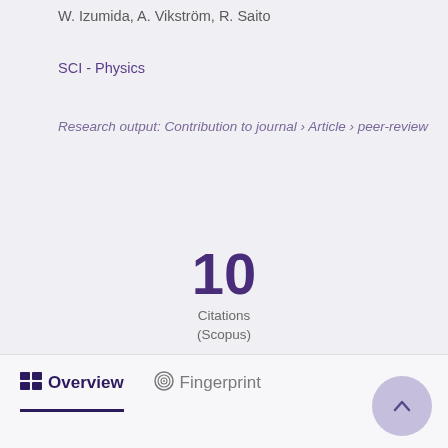W. Izumida, A. Vikström, R. Saito
SCI - Physics
Research output: Contribution to journal › Article › peer-review
10
Citations
(Scopus)
Overview   Fingerprint